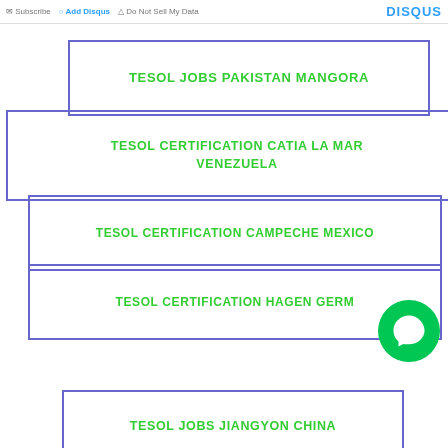Subscribe  Add Disqus  Do Not Sell My Data  DISQUS
TESOL JOBS PAKISTAN MANGORA
TESOL CERTIFICATION CATIA LA MAR VENEZUELA
TESOL CERTIFICATION CAMPECHE MEXICO
TESOL CERTIFICATION HAGEN GERM...
TESOL JOBS JIANGYON CHINA